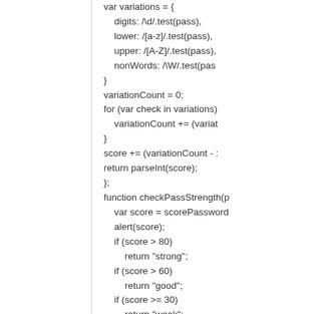[Figure (other): JavaScript source code snippet showing variable declarations for password strength checking, including a variations object with digit/lower/upper/nonWords regex tests, a variationCount loop, score calculation, and a checkPassStrength function with conditional returns for 'strong', 'good', 'weak'.]